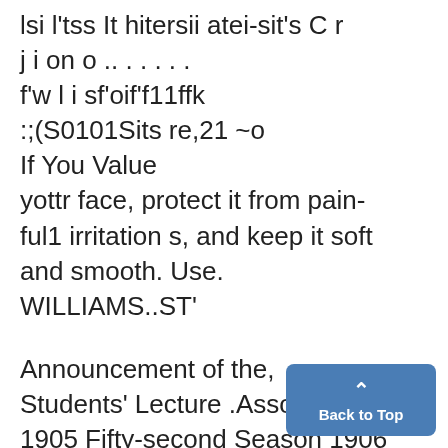lsi l'tss It hitersii atei-sit's C r
j i on o .. . . . . .
f'w l i sf'oif'f11ffk
:;(S0101Sits re,21 ~o
If You Value
yottr face, protect it from pain-ful1 irritation s, and keep it soft and smooth. Use.
WILLIAMS..ST'
Announcement of the, Students' Lecture .Association 1905 Fifty-second Season 1906 NUMBERS REMAINING